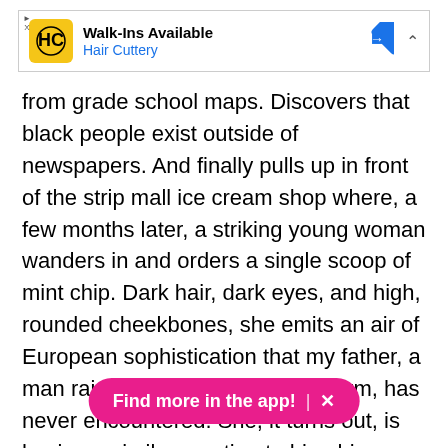[Figure (other): Advertisement banner for Hair Cuttery showing logo, 'Walk-Ins Available' text, blue navigation diamond icon, and collapse chevron]
from grade school maps. Discovers that black people exist outside of newspapers. And finally pulls up in front of the strip mall ice cream shop where, a few months later, a striking young woman wanders in and orders a single scoop of mint chip. Dark hair, dark eyes, and high, rounded cheekbones, she emits an air of European sophistication that my father, a man raised on a remote potato farm, has never encountered. She, it turns out, is having a similar reaction to him: his redneck sense of humor and the twitchy muscles in his pale arms combining to project a blue-collar masculinity foreign to her white-collar upbringing. They smile. They chat. Soon they are a couple.
[Figure (other): Pink pill-shaped button with text 'Find more in the app!' and an X close button]